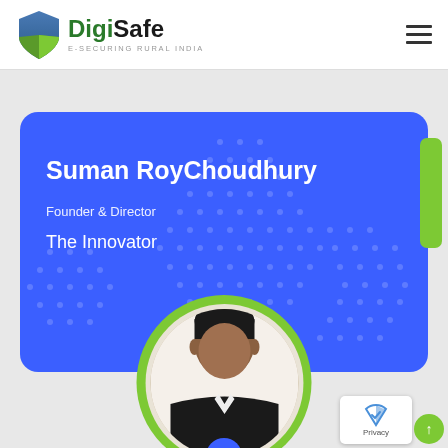[Figure (logo): DigiSafe logo with shield icon and text 'DigiSafe e-SECURING RURAL INDIA']
[Figure (infographic): Profile card for Suman RoyChoudhury, Founder & Director, The Innovator, with blue card background, dot pattern, green accent tab, and circular profile photo with green border]